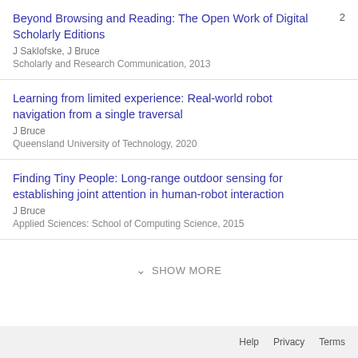Beyond Browsing and Reading: The Open Work of Digital Scholarly Editions
J Saklofske, J Bruce
Scholarly and Research Communication, 2013
[cited: 2]
Learning from limited experience: Real-world robot navigation from a single traversal
J Bruce
Queensland University of Technology, 2020
Finding Tiny People: Long-range outdoor sensing for establishing joint attention in human-robot interaction
J Bruce
Applied Sciences: School of Computing Science, 2015
SHOW MORE
Help   Privacy   Terms